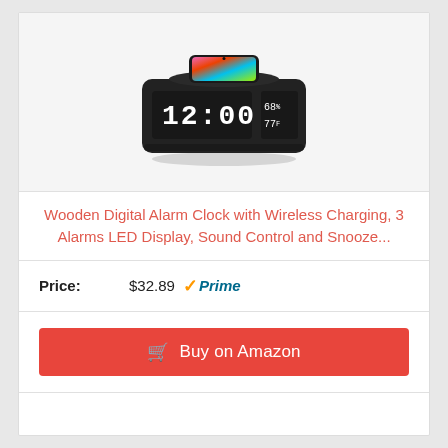[Figure (photo): A black wooden digital alarm clock with wireless charging pad on top showing a colorful phone-like screen. The front LED display shows 12:00 and 68% / 77F.]
Wooden Digital Alarm Clock with Wireless Charging, 3 Alarms LED Display, Sound Control and Snooze...
Price: $32.89 Prime
Buy on Amazon